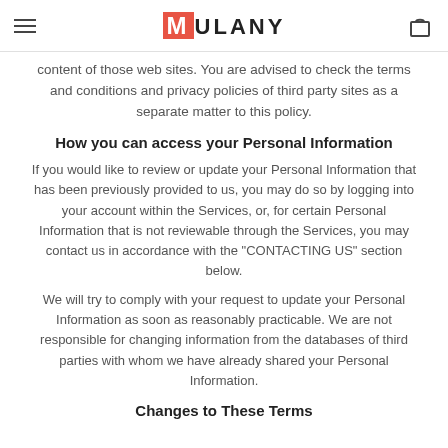MULANY
content of those web sites. You are advised to check the terms and conditions and privacy policies of third party sites as a separate matter to this policy.
How you can access your Personal Information
If you would like to review or update your Personal Information that has been previously provided to us, you may do so by logging into your account within the Services, or, for certain Personal Information that is not reviewable through the Services, you may contact us in accordance with the "CONTACTING US" section below.
We will try to comply with your request to update your Personal Information as soon as reasonably practicable. We are not responsible for changing information from the databases of third parties with whom we have already shared your Personal Information.
Changes to These Terms